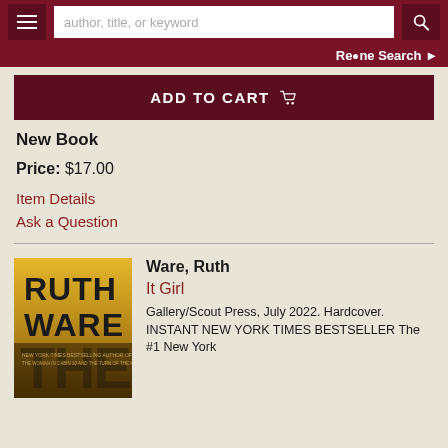author, title, or keyword [search bar] Refine Search
ADD TO CART
New Book
Price: $17.00
Item Details
Ask a Question
Ware, Ruth
It Girl
Gallery/Scout Press, July 2022. Hardcover. INSTANT NEW YORK TIMES BESTSELLER The #1 New York